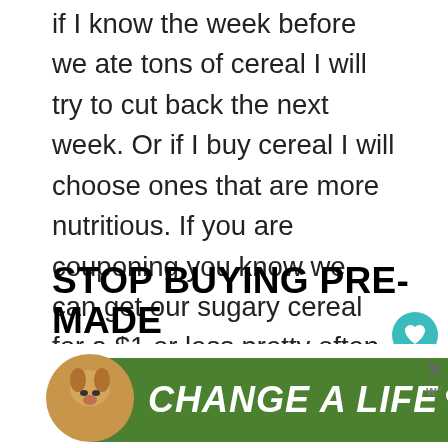if I know the week before we ate tons of cereal I will try to cut back the next week. Or if I buy cereal I will choose ones that are more nutritious. If you are couponing you know we can get our sugary cereal for a $1 or less pretty often so the challenge is certainly there to cut back.
STOP BUYING PRE-MADE
[Figure (screenshot): Green advertisement banner with dog photo and text 'CHANGE A LIFE' with a heart icon, and a close button (X). Partially overlays bottom of page.]